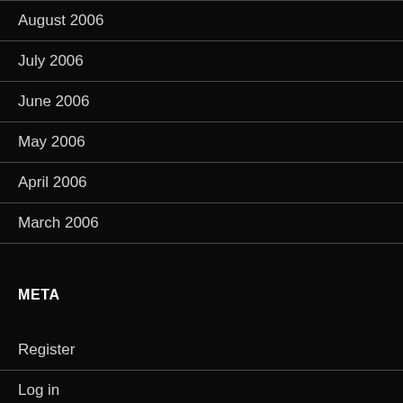August 2006
July 2006
June 2006
May 2006
April 2006
March 2006
META
Register
Log in
Entries feed
Comments feed